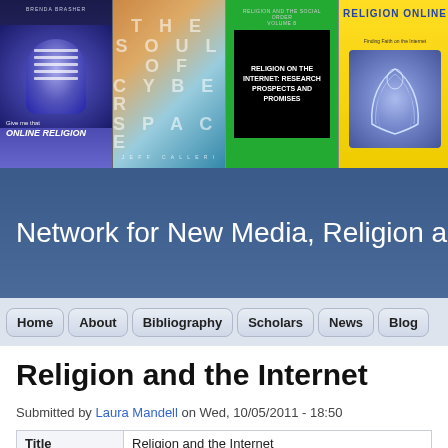[Figure (photo): Banner showing four book covers related to religion and internet: 'Give me that Online Religion', 'The Soul of Cyberspace', 'Religion on the Internet: Research Prospects and Promises', and 'Religion Online: Finding Faith on the Internet']
Network for New Media, Religion and D
Home | About | Bibliography | Scholars | News | Blog
Religion and the Internet
Submitted by Laura Mandell on Wed, 10/05/2011 - 18:50
| Title |
| --- |
| Religion and the Internet |